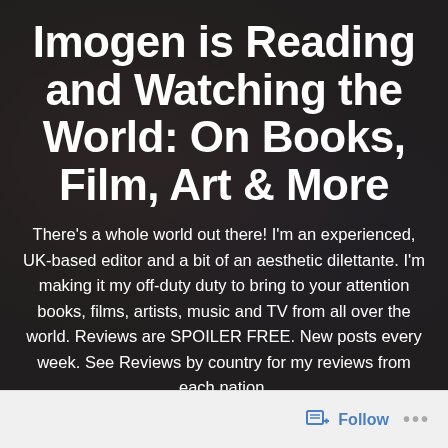Imogen is Reading and Watching the World: On Books, Film, Art & More
There's a whole world out there! I'm an experienced, UK-based editor and a bit of an aesthetic dilettante. I'm making it my off-duty duty to bring to your attention books, films, artists, music and TV from all over the world. Reviews are SPOILER FREE. New posts every week. See Reviews by country for my reviews from each nation.
Reviews by country/topic
Follow ···